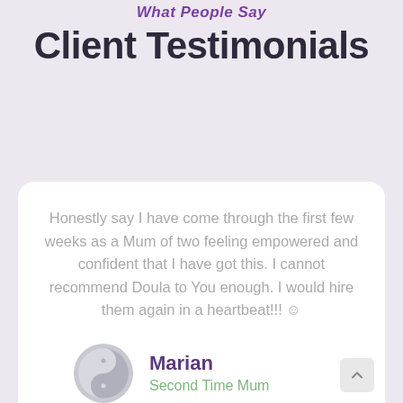What People Say
Client Testimonials
Honestly say I have come through the first few weeks as a Mum of two feeling empowered and confident that I have got this. I cannot recommend Doula to You enough. I would hire them again in a heartbeat!!! 😊
Marian
Second Time Mum